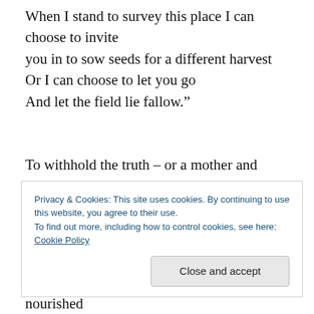When I stand to survey this place I can choose to invite you in to sow seeds for a different harvest
Or I can choose to let you go
And let the field lie fallow.”
To withhold the truth – or a mother and child from each other – is a deliberate decision, not an act of love. For better or worse, it’s an act of power. Once the child grows
Privacy & Cookies: This site uses cookies. By continuing to use this website, you agree to their use.
To find out more, including how to control cookies, see here: Cookie Policy
Close and accept
them, and leave the facades behind. Love nourished